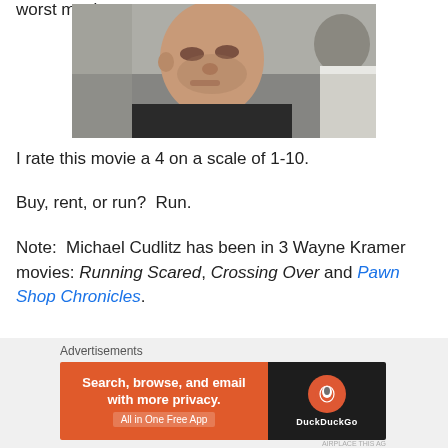worst movie.
[Figure (photo): A close-up still from a movie showing a bald man in a dark suit looking intensely at another person whose back is to the camera.]
I rate this movie a 4 on a scale of 1-10.
Buy, rent, or run?  Run.
Note:  Michael Cudlitz has been in 3 Wayne Kramer movies: Running Scared, Crossing Over and Pawn Shop Chronicles.
Advertisements
[Figure (screenshot): DuckDuckGo advertisement banner: Search, browse, and email with more privacy. All in One Free App]